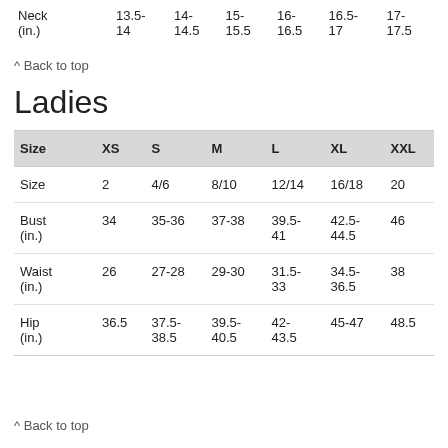|  | XS | S | M | L | XL | XXL |
| --- | --- | --- | --- | --- | --- | --- |
| Neck (in.) | 13.5-14 | 14-14.5 | 15-15.5 | 16-16.5 | 16.5-17 | 17-17.5 |
^ Back to top
Ladies
| Size | XS | S | M | L | XL | XXL |
| --- | --- | --- | --- | --- | --- | --- |
| Size | 2 | 4/6 | 8/10 | 12/14 | 16/18 | 20 |
| Bust (in.) | 34 | 35-36 | 37-38 | 39.5-41 | 42.5-44.5 | 46 |
| Waist (in.) | 26 | 27-28 | 29-30 | 31.5-33 | 34.5-36.5 | 38 |
| Hip (in.) | 36.5 | 37.5-38.5 | 39.5-40.5 | 42-43.5 | 45-47 | 48.5 |
^ Back to top